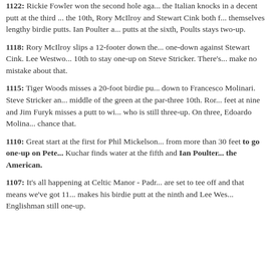1122: Rickie Fowler won the second hole aga... the Italian knocks in a decent putt at the third ... the 10th, Rory McIlroy and Stewart Cink both f... themselves lengthy birdie putts. Ian Poulter a... putts at the sixth, Poults stays two-up.
1118: Rory McIlroy slips a 12-footer down the... one-down against Stewart Cink. Lee Westwo... 10th to stay one-up on Steve Stricker. There's... make no mistake about that.
1115: Tiger Woods misses a 20-foot birdie pu... down to Francesco Molinari. Steve Stricker an... middle of the green at the par-three 10th. Ror... feet at nine and Jim Furyk misses a putt to wi... who is still three-up. On three, Edoardo Molina... chance that.
1110: Great start at the first for Phil Mickelson... from more than 30 feet to go one-up on Pete... Kuchar finds water at the fifth and Ian Poulter... the American.
1107: It's all happening at Celtic Manor - Padr... are set to tee off and that means we've got 11... makes his birdie putt at the ninth and Lee Wes... Englishman still one-up.